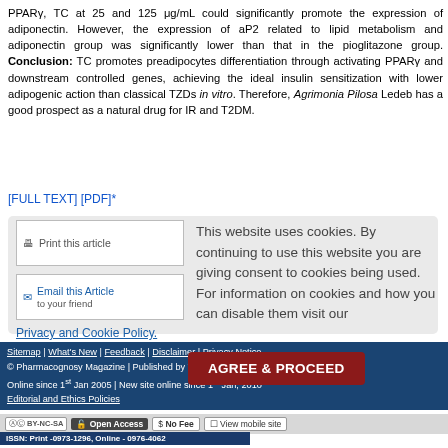PPARγ, TC at 25 and 125 μg/mL could significantly promote the expression of adiponectin. However, the expression of aP2 related to lipid metabolism and adiponectin group was significantly lower than that in the pioglitazone group. Conclusion: TC promotes preadipocytes differentiation through activating PPARγ and downstream controlled genes, achieving the ideal insulin sensitization with lower adipogenic action than classical TZDs in vitro. Therefore, Agrimonia Pilosa Ledeb has a good prospect as a natural drug for IR and T2DM.
[FULL TEXT] [PDF]*
This website uses cookies. By continuing to use this website you are giving consent to cookies being used. For information on cookies and how you can disable them visit our
Privacy and Cookie Policy.
Print this article
Email this Article to your friend
AGREE & PROCEED
Sitemap | What's New | Feedback | Disclaimer | Privacy Notice
© Pharmacognosy Magazine | Published by Wolters Kluwer - Medknow
Online since 1st Jan 2005 | New site online since 1st Jan, 2010
Editorial and Ethics Policies
ISSN: Print -0973-1296, Online - 0976-4062